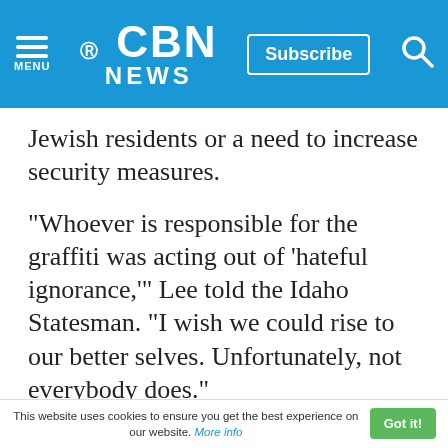CBN NEWS
Jewish residents or a need to increase security measures.
"Whoever is responsible for the graffiti was acting out of 'hateful ignorance,'" Lee told the Idaho Statesman. "I wish we could rise to our better selves. Unfortunately, not everybody does."
Why does Judaism matter and how is it connected to Christianity? Learn more here.
Jewish Roots
This website uses cookies to ensure you get the best experience on our website. More info